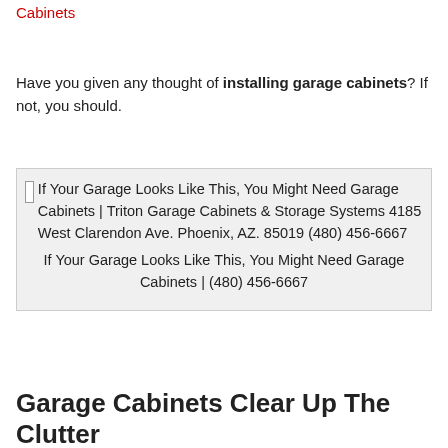Cabinets
Have you given any thought of installing garage cabinets? If not, you should.
[Figure (other): Image placeholder showing a garage with clutter. Alt text: If Your Garage Looks Like This, You Might Need Garage Cabinets | Triton Garage Cabinets & Storage Systems 4185 West Clarendon Ave. Phoenix, AZ. 85019 (480) 456-6667 If Your Garage Looks Like This, You Might Need Garage Cabinets | (480) 456-6667]
Garage Cabinets Clear Up The Clutter